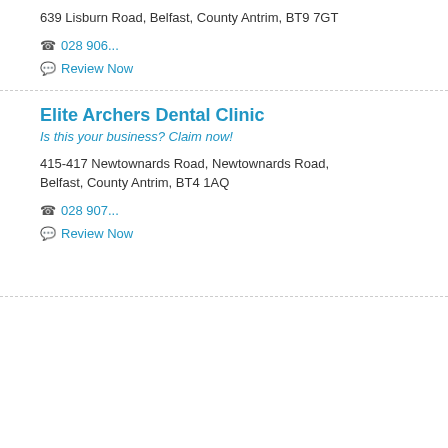639 Lisburn Road, Belfast, County Antrim, BT9 7GT
📞 028 906...
💬 Review Now
Elite Archers Dental Clinic
Is this your business? Claim now!
415-417 Newtownards Road, Newtownards Road, Belfast, County Antrim, BT4 1AQ
📞 028 907...
💬 Review Now